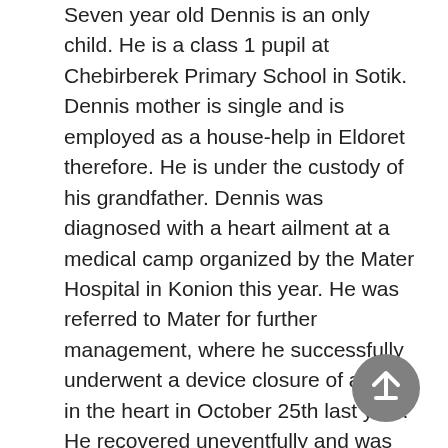Seven year old Dennis is an only child. He is a class 1 pupil at Chebirberek Primary School in Sotik. Dennis mother is single and is employed as a house-help in Eldoret therefore. He is under the custody of his grandfather. Dennis was diagnosed with a heart ailment at a medical camp organized by the Mater Hospital in Konion this year. He was referred to Mater for further management, where he successfully underwent a device closure of a hole in the heart in October 25th last year. He recovered uneventfully and was discharged home stable on 27thOct/2013, to be followed up on out-patient basis. His family was unable to raise any money, Rotary contributed Kshs. 50,000/= towards his procedure.
[Figure (other): Back-to-top navigation button: circular grey button with an upward arrow icon]